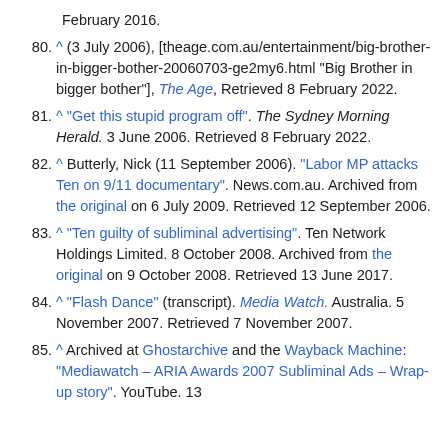February 2016.
80. ^ (3 July 2006), [theage.com.au/entertainment/big-brother-in-bigger-bother-20060703-ge2my6.html "Big Brother in bigger bother"], The Age, Retrieved 8 February 2022.
81. ^ "Get this stupid program off". The Sydney Morning Herald. 3 June 2006. Retrieved 8 February 2022.
82. ^ Butterly, Nick (11 September 2006). "Labor MP attacks Ten on 9/11 documentary". News.com.au. Archived from the original on 6 July 2009. Retrieved 12 September 2006.
83. ^ "Ten guilty of subliminal advertising". Ten Network Holdings Limited. 8 October 2008. Archived from the original on 9 October 2008. Retrieved 13 June 2017.
84. ^ "Flash Dance" (transcript). Media Watch. Australia. 5 November 2007. Retrieved 7 November 2007.
85. ^ Archived at Ghostarchive and the Wayback Machine: "Mediawatch – ARIA Awards 2007 Subliminal Ads – Wrap-up story". YouTube. 13...